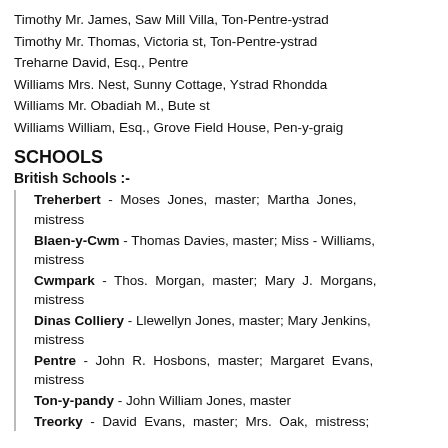Timothy Mr. James, Saw Mill Villa, Ton-Pentre-ystrad
Timothy Mr. Thomas, Victoria st, Ton-Pentre-ystrad
Treharne David, Esq., Pentre
Williams Mrs. Nest, Sunny Cottage, Ystrad Rhondda
Williams Mr. Obadiah M., Bute st
Williams William, Esq., Grove Field House, Pen-y-graig
SCHOOLS
British Schools :-
Treherbert - Moses Jones, master; Martha Jones, mistress
Blaen-y-Cwm - Thomas Davies, master; Miss - Williams, mistress
Cwmpark - Thos. Morgan, master; Mary J. Morgans, mistress
Dinas Colliery - Llewellyn Jones, master; Mary Jenkins, mistress
Pentre - John R. Hosbons, master; Margaret Evans, mistress
Ton-y-pandy - John William Jones, master
Treorky - David Evans, master; Mrs. Oak, mistress;